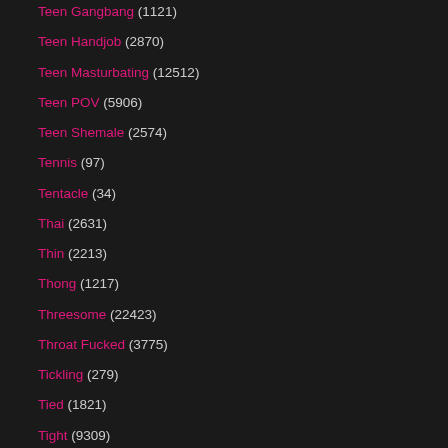Teen Gangbang (1121)
Teen Handjob (2870)
Teen Masturbating (12512)
Teen POV (5906)
Teen Shemale (2574)
Tennis (97)
Tentacle (34)
Thai (2631)
Thin (2213)
Thong (1217)
Threesome (22423)
Throat Fucked (3775)
Tickling (279)
Tied (1821)
Tight (9309)
Tight Pussy (4650)